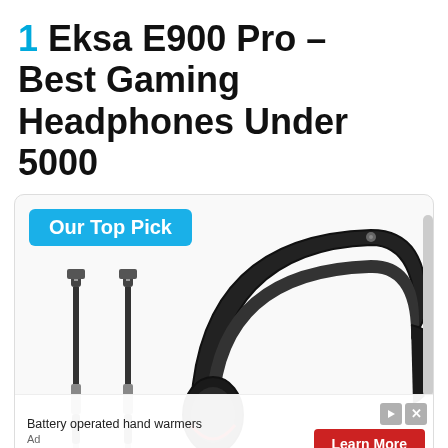1 Eksa E900 Pro – Best Gaming Headphones Under 5000
[Figure (photo): Product card with 'Our Top Pick' badge showing the Eksa E900 Pro gaming headphones and USB/audio cables. Bottom overlay shows an advertisement for battery operated hand warmers with a red 'Learn More' button.]